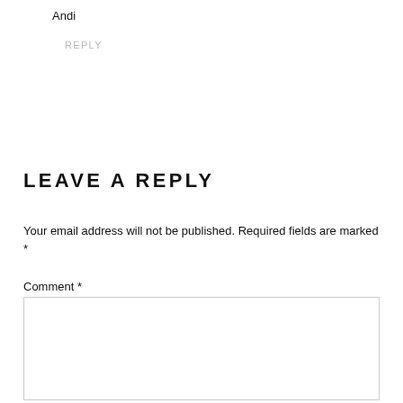Andi
REPLY
LEAVE A REPLY
Your email address will not be published. Required fields are marked *
Comment *